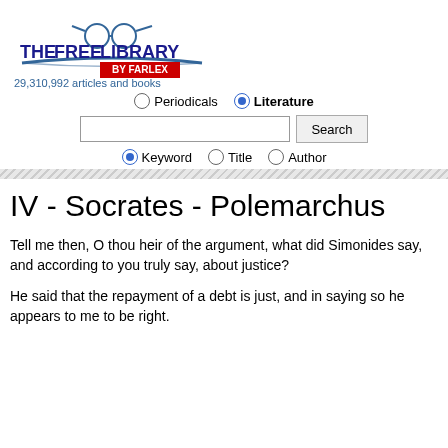[Figure (logo): The Free Library by Farlex logo with glasses and book icon]
29,310,992 articles and books
Periodicals  Literature (radio buttons for search type)
Keyword  Title  Author (radio buttons for search mode)
IV - Socrates - Polemarchus
Tell me then, O thou heir of the argument, what did Simonides say, and according to you truly say, about justice?
He said that the repayment of a debt is just, and in saying so he appears to me to be right.